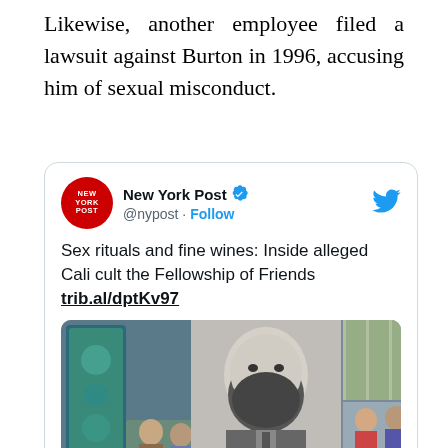Likewise, another employee filed a lawsuit against Burton in 1996, accusing him of sexual misconduct.
[Figure (screenshot): Embedded tweet from @nypost (New York Post) with verified badge and Twitter bird icon. Tweet text: 'Sex rituals and fine wines: Inside alleged Cali cult the Fellowship of Friends trib.al/dptKv97'. Below the tweet text is a photo collage showing a bearded man in a suit (black and white center image) surrounded by smaller color photos of people at various gatherings.]